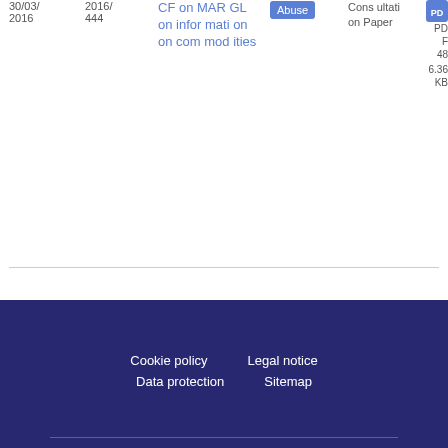30/03/2016
2016/444
CF on MARGL on information on commodities
Abuse
Consultation Paper
PDF
48
6.36 KB
Cookie policy   Legal notice   Data protection   Sitemap